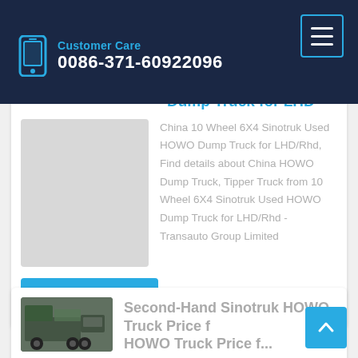Customer Care 0086-371-60922096
Dump Truck for LHD
China 10 Wheel 6X4 Sinotruk Used HOWO Dump Truck for LHD/Rhd, Find details about China HOWO Dump Truck, Tipper Truck from 10 Wheel 6X4 Sinotruk Used HOWO Dump Truck for LHD/Rhd - Transauto Group Limited
Learn More
Second-Hand Sinotruk HOWO Truck Price f...